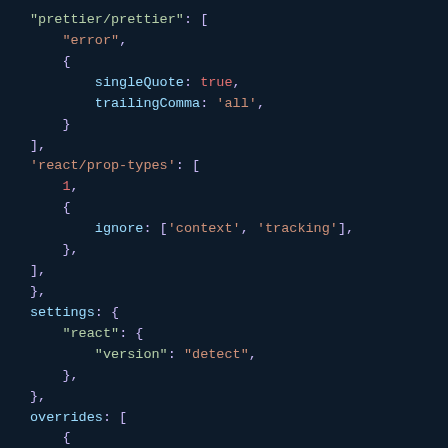Code snippet showing ESLint configuration JSON with prettier/prettier, react/prop-types rules, settings with react version detect, and overrides for .ts/.tsx files